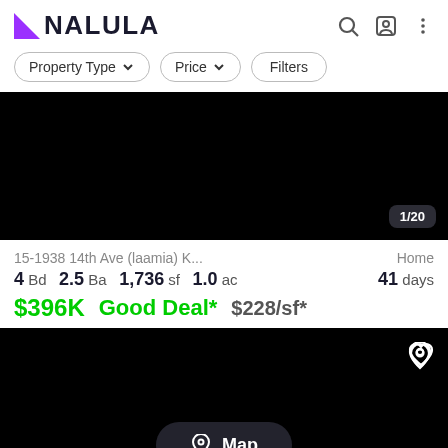[Figure (logo): Nalula logo with purple triangle and bold text]
Property Type ▾
Price ▾
Filters
[Figure (photo): Black property photo area showing 1/20 counter]
15-1938 14th Ave (laamia) K...   Home
4 Bd  2.5 Ba  1,736 sf  1.0 ac   41 days
$396K   Good Deal*   $228/sf*
[Figure (photo): Black property photo area with heart icon and Map button]